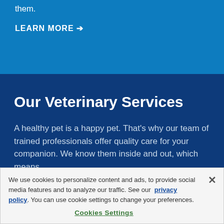They are always there for you, we will always be there for them.
LEARN MORE →
Our Veterinary Services
A healthy pet is a happy pet. That's why our team of trained professionals offer quality care for your companion. We know them inside and out, which means
We use cookies to personalize content and ads, to provide social media features and to analyze our traffic. See our privacy policy. You can use cookie settings to change your preferences.
Cookies Settings